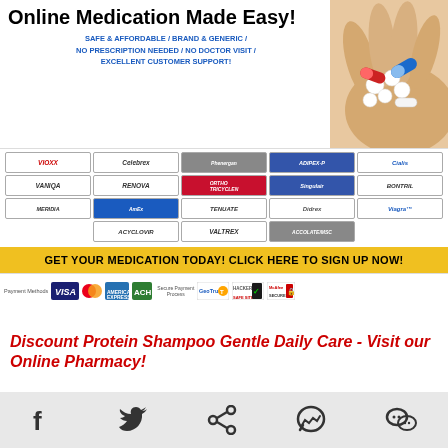[Figure (infographic): Online pharmacy advertisement banner with pill/hand image, drug brand grid, CTA bar, and payment/trust icons]
Discount Protein Shampoo Gentle Daily Care - Visit our Online Pharmacy!
Order Protein Shampoo Gentle Daily Care Online And Save Your Money!!!
Menu
[Figure (infographic): Social media sharing icons: Facebook, Twitter, Share, Messenger, WeChat]